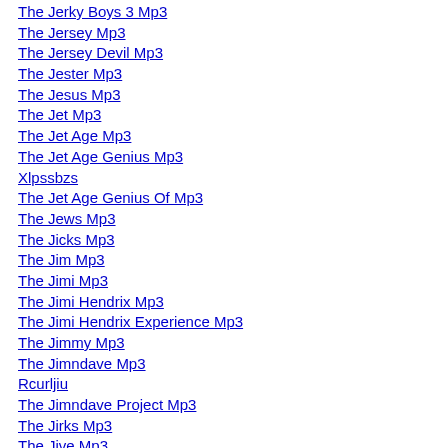The Jerky Boys 3 Mp3
The Jersey Mp3
The Jersey Devil Mp3
The Jester Mp3
The Jesus Mp3
The Jet Mp3
The Jet Age Mp3
The Jet Age Genius Mp3
Xlpssbzs
The Jet Age Genius Of Mp3
The Jews Mp3
The Jicks Mp3
The Jim Mp3
The Jimi Mp3
The Jimi Hendrix Mp3
The Jimi Hendrix Experience Mp3
The Jimmy Mp3
The Jimndave Mp3
Rcurljiu
The Jimndave Project Mp3
The Jirks Mp3
The Jive Mp3
The Job Mp3
The Joe Mp3
The Joe And Mp3